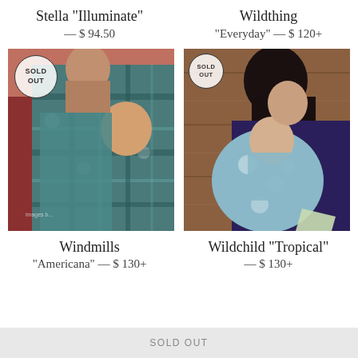Stella "Illuminate" — $ 94.50
Wildthing "Everyday" — $ 120+
[Figure (photo): Woman carrying a baby in a teal plaid woven wrap with white floral pattern. SOLD OUT badge visible top-left.]
[Figure (photo): Woman carrying a baby in a light blue/white floral woven wrap against wooden wall background. SOLD OUT badge visible top-left.]
Windmills "Americana" — $ 130+
Wildchild "Tropical" — $ 130+
SOLD OUT